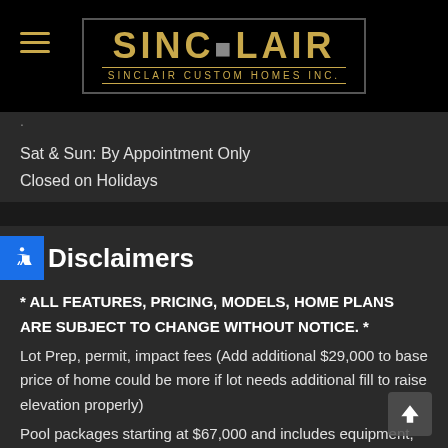[Figure (logo): Sinclair Custom Homes Inc. logo with gold text on black background, with hamburger menu icon on left]
Sat & Sun: By Appointment Only
Closed on Holidays
Disclaimers
* ALL FEATURES, PRICING, MODELS, HOME PLANS ARE SUBJECT TO CHANGE WITHOUT NOTICE. *
Lot Prep, permit, impact fees (Add additional $29,000 to base price of home could be more if lot needs additional fill to raise elevation properly)
Pool packages starting at $67,000 and includes equipment, paver deck, high visibility pool screen cage and two side